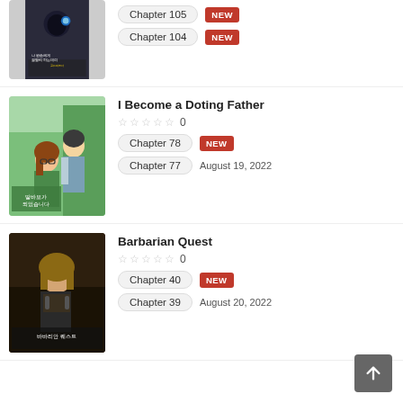[Figure (illustration): Manga cover for first title (Korean manhwa with dark fantasy character)]
Chapter 105 NEW
Chapter 104 NEW
[Figure (illustration): Manga cover for 'I Become a Doting Father' - Korean manhwa with two characters]
I Become a Doting Father
0
Chapter 78 NEW
Chapter 77 August 19, 2022
[Figure (illustration): Manga cover for 'Barbarian Quest' - Korean manhwa with warrior character]
Barbarian Quest
0
Chapter 40 NEW
Chapter 39 August 20, 2022